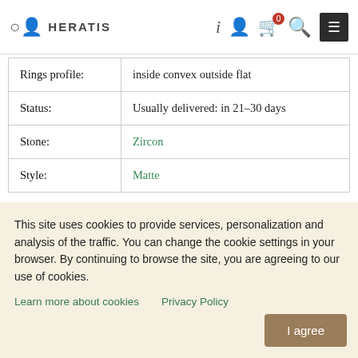HERATIS — navigation bar with logo, info, account, cart, search, menu icons
| Rings profile: | inside convex outside flat |
| Status: | Usually delivered: in 21-30 days |
| Stone: | Zircon |
| Style: | Matte |
* Manufacturing to order.
The weight of gold may differ by +/- 30 % /
This site uses cookies to provide services, personalization and analysis of the traffic. You can change the cookie settings in your browser. By continuing to browse the site, you are agreeing to our use of cookies.
Learn more about cookies    Privacy Policy